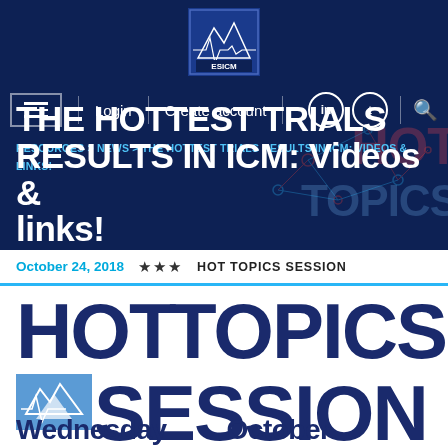[Figure (logo): ESICM logo in blue box with mountain/ECG waveform graphic]
Login | Create account | LinkedIn | Twitter | Search
RESOURCES > NEWS > THE HOTTEST TRIALS RESULTS IN ICM: VIDEOS & LINKS!
THE HOTTEST TRIALS RESULTS IN ICM: Videos & links!
October 24, 2018  ★★★  HOT TOPICS SESSION
HOT TOPICS SESSION
Wednesday   October